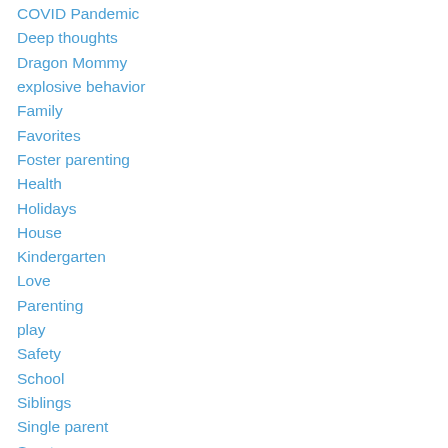COVID Pandemic
Deep thoughts
Dragon Mommy
explosive behavior
Family
Favorites
Foster parenting
Health
Holidays
House
Kindergarten
Love
Parenting
play
Safety
School
Siblings
Single parent
Sports
Stress